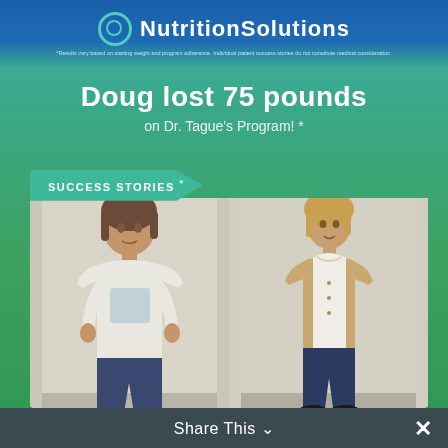[Figure (logo): NutritionSolutions logo with circular icon and text]
*Results vary based on starting weight and program adherence. Individual patient success stories do not constitute medical consideration.
Doug lost 75 pounds on Dr. Tague's Program! *
[Figure (photo): Success Stories before and after photos of a woman: before photo on left wearing white t-shirt, after photo on right wearing beige blazer. Badge reads SUCCESS STORIES *]
Share This